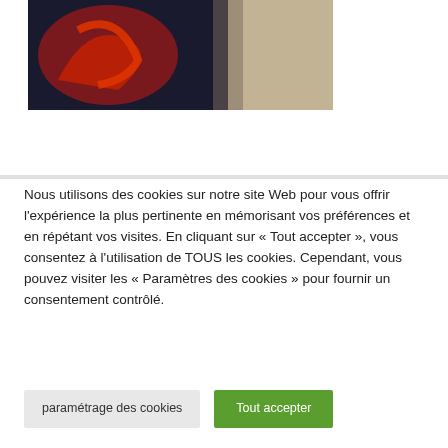[Figure (photo): Partial photo showing dark background with reddish/orange shapes and a light beige area on the right side]
Nous utilisons des cookies sur notre site Web pour vous offrir l'expérience la plus pertinente en mémorisant vos préférences et en répétant vos visites. En cliquant sur « Tout accepter », vous consentez à l'utilisation de TOUS les cookies. Cependant, vous pouvez visiter les « Paramètres des cookies » pour fournir un consentement contrôlé.
paramétrage des cookies
Tout accepter